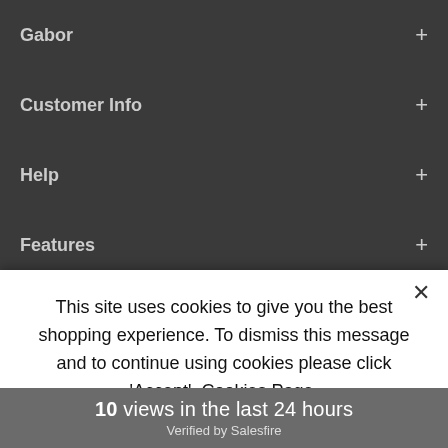Gabor +
Customer Info +
Help +
Features +
This site uses cookies to give you the best shopping experience. To dismiss this message and to continue using cookies please click 'Accept'. Cookies Page.
ACCEPT COOKIES
10 views in the last 24 hours
Verified by Salesfire